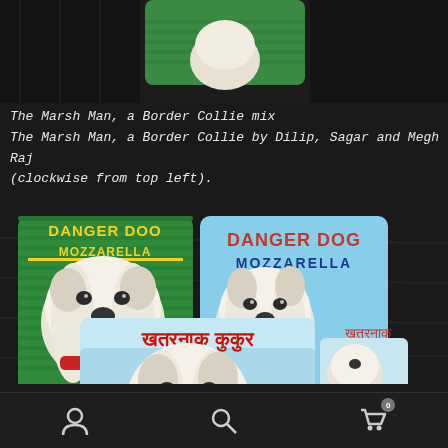[Figure (photo): Partial photo of a painted card showing a Border Collie mix on green background, partially visible at top of page]
The Marsh Man, a Border Collie mix
The Marsh Man, a Border Collie by Dilip, Sagar and Megh Raj (clockwise from top left).
[Figure (photo): Photo of four illustrated cards of a dog named 'Danger Dog Mozzarella' / 'Khatarnak Kukur'. Top-left card has green background with yellow text 'DANGER DOO MOZZARELLA' and painted dog portrait. Top-right card has blue background with red 'DANGER DOG' and blue 'MOZZARELLA' text plus Hindi script. Bottom card and small card show Hindi script 'खतरनाक कुकुर' on blue background with dog portrait.]
Navigation bar with person icon, search icon, and cart icon with badge showing 0